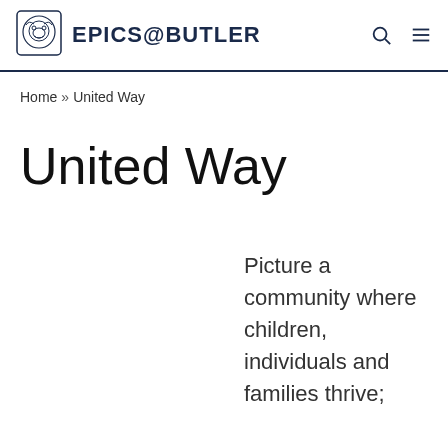EPICS@BUTLER
Home » United Way
United Way
Picture a community where children, individuals and families thrive;